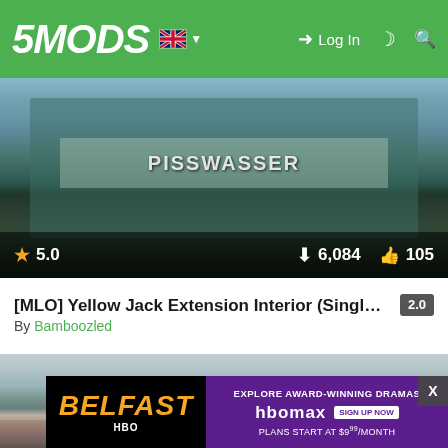5MODS — Log In
[Figure (screenshot): Screenshot of a building exterior from GTA V showing a bar/liquor store with Pisswasser signage, with stats overlay showing rating 5.0, downloads 6,084, likes 105]
[MLO] Yellow Jack Extension Interior (Single Floor Only) 2.0
By Bamboozled
[Figure (screenshot): Screenshot from GTA V showing a snowy forest area with pine trees in misty/foggy conditions, with an HBO Max advertisement overlay for Belfast at the bottom]